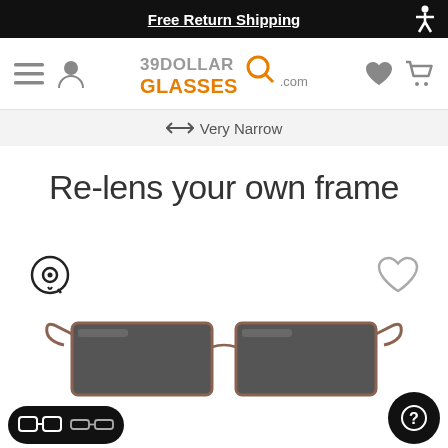Free Return Shipping
[Figure (logo): 39DollarGlasses.com logo with hamburger menu, user icon, heart icon, and cart icon]
↔ Very Narrow
Re-lens your own frame
[Figure (photo): A pair of narrow rectangular sunglasses with dark lenses and a metal copper-toned frame, shown from a slightly elevated front angle. Below the glasses are two view toggle buttons (wide-frame icon and slim-frame icon) in a dark pill-shaped button on the left, and a help/question mark button on the right.]